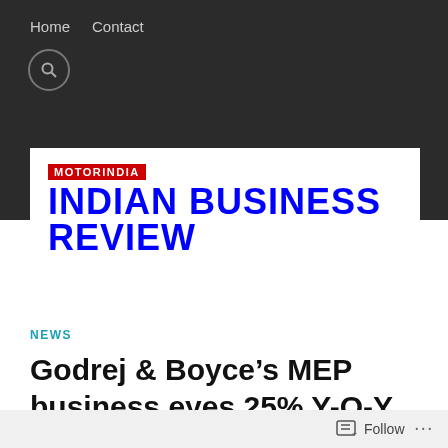Home   Contact
[Figure (logo): MotorIndia Indian Business Review logo: red MOTORINDIA label above blue bold INDIAN BUSINESS REVIEW text on white background]
NEWS
Godrej & Boyce’s MEP business eyes 25% Y-O-Y growth in Data Centers projects